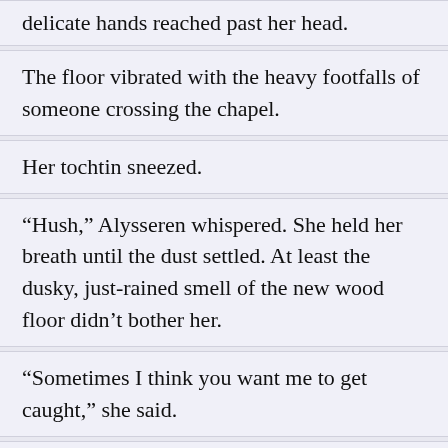delicate hands reached past her head.
The floor vibrated with the heavy footfalls of someone crossing the chapel.
Her tochtin sneezed.
“Hush,” Alysseren whispered. She held her breath until the dust settled. At least the dusky, just-rained smell of the new wood floor didn’t bother her.
“Sometimes I think you want me to get caught,” she said.
“If I wanted that, I could have told the others.” Her tochtin’s long ears drooped. “Not that they ever listen to me…”